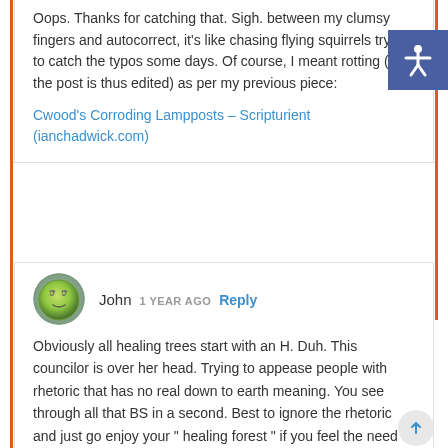Oops. Thanks for catching that. Sigh. between my clumsy fingers and autocorrect, it's like chasing flying squirrels trying to catch the typos some days. Of course, I meant rotting (and the post is thus edited) as per my previous piece:
Cwood's Corroding Lampposts – Scripturient (ianchadwick.com)
John  1 YEAR AGO  Reply
Obviously all healing trees start with an H. Duh. This councilor is over her head. Trying to appease people with rhetoric that has no real down to earth meaning. You see through all that BS in a second. Best to ignore the rhetoric and just go enjoy your " healing forest " if you feel the need of thought just don't it at a red light. Plenty of open time at the Starbucks drive through.